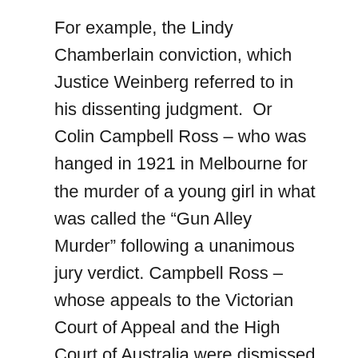For example, the Lindy Chamberlain conviction, which Justice Weinberg referred to in his dissenting judgment.  Or Colin Campbell Ross – who was hanged in 1921 in Melbourne for the murder of a young girl in what was called the “Gun Alley Murder” following a unanimous jury verdict.  Campbell Ross – whose appeals to the Victorian Court of Appeal and the High Court of Australia were dismissed – was granted a posthumous pardon in 2008.
Soutphommasane claimed that it is “the culture war that explains why much media coverage of Pell’s case has cast him as a real victim”.  No evidence was provided for this assertion